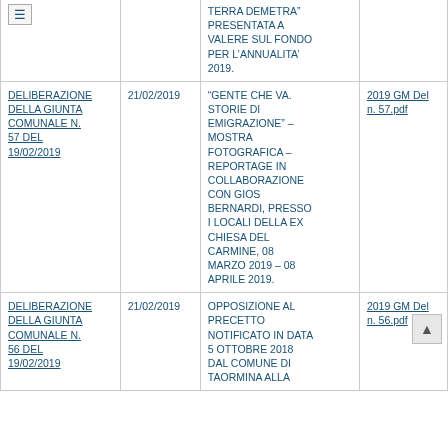| Titolo | Data | Descrizione | Allegato |
| --- | --- | --- | --- |
|  |  | TERRA DEMETRA" PRESENTATA A VALERE SUL FONDO PER L'ANNUALITA' 2019. |  |
| DELIBERAZIONE DELLA GIUNTA COMUNALE N. 57 DEL 19/02/2019 | 21/02/2019 | "GENTE CHE VA. STORIE DI EMIGRAZIONE" – MOSTRA FOTOGRAFICA – REPORTAGE IN COLLABORAZIONE CON GIOS BERNARDI, PRESSO I LOCALI DELLA EX CHIESA DEL CARMINE, 08 MARZO 2019 – 08 APRILE 2019. | 2019 GM Del n. 57.pdf |
| DELIBERAZIONE DELLA GIUNTA COMUNALE N. 56 DEL 19/02/2019 | 21/02/2019 | OPPOSIZIONE AL PRECETTO NOTIFICATO IN DATA 5 OTTOBRE 2018 DAL COMUNE DI TAORMINA ALLA | 2019 GM Del n. 56.pdf |